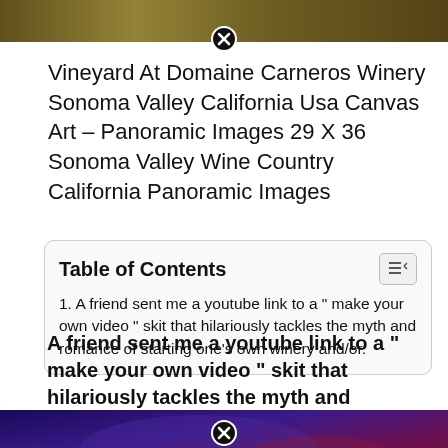[Figure (photo): Top portion of a vineyard/nature photo with green and brown tones, partially cropped]
Vineyard At Domaine Carneros Winery Sonoma Valley California Usa Canvas Art – Panoramic Images 29 X 36 Sonoma Valley Wine Country California Panoramic Images
Table of Contents
1. A friend sent me a youtube link to a “ make your own video ” skit that hilariously tackles the myth and romance of starting one’s own winery and/or.
A friend sent me a youtube link to a “ make your own video ” skit that hilariously tackles the myth and romance of starting one’s own winery and/or.
[Figure (photo): Bottom portion of a cosmic/nebula style photo with blue, purple and red tones]